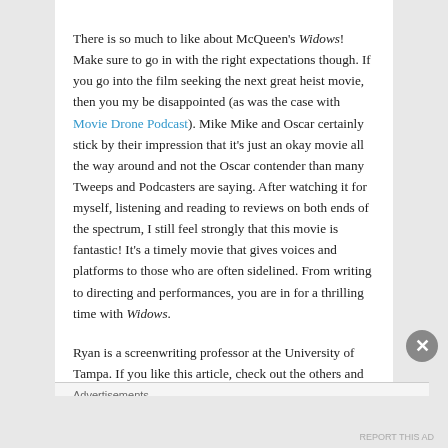There is so much to like about McQueen's Widows! Make sure to go in with the right expectations though. If you go into the film seeking the next great heist movie, then you my be disappointed (as was the case with Movie Drone Podcast). Mike Mike and Oscar certainly stick by their impression that it's just an okay movie all the way around and not the Oscar contender than many Tweeps and Podcasters are saying. After watching it for myself, listening and reading to reviews on both ends of the spectrum, I still feel strongly that this movie is fantastic! It's a timely movie that gives voices and platforms to those who are often sidelined. From writing to directing and performances, you are in for a thrilling time with Widows.
Ryan is a screenwriting professor at the University of Tampa. If you like this article, check out the others and FOLLOW this blog.
Advertisements